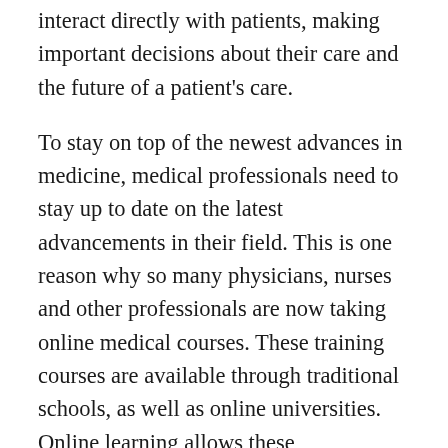interact directly with patients, making important decisions about their care and the future of a patient's care.
To stay on top of the newest advances in medicine, medical professionals need to stay up to date on the latest advancements in their field. This is one reason why so many physicians, nurses and other professionals are now taking online medical courses. These training courses are available through traditional schools, as well as online universities. Online learning allows these professionals to receive education from the comfort of their home. This is a huge benefit for working physicians because they no longer have to leave their jobs and travel to school.